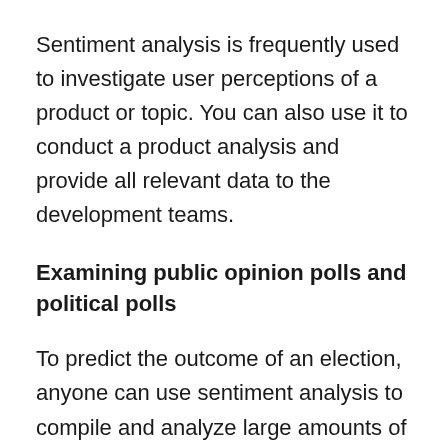Sentiment analysis is frequently used to investigate user perceptions of a product or topic. You can also use it to conduct a product analysis and provide all relevant data to the development teams.
Examining public opinion polls and political polls
To predict the outcome of an election, anyone can use sentiment analysis to compile and analyze large amounts of text data, such as news, social media, opinions, and suggestions. It takes into account how the general public feels